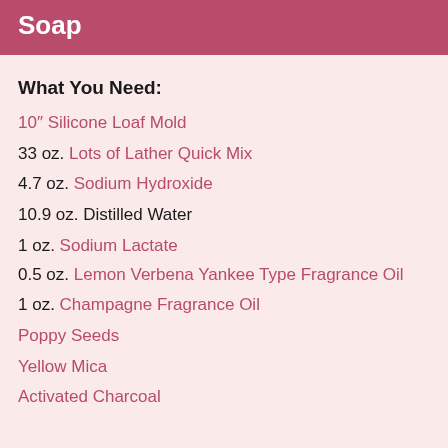Soap
What You Need:
10" Silicone Loaf Mold
33 oz. Lots of Lather Quick Mix
4.7 oz. Sodium Hydroxide
10.9 oz. Distilled Water
1 oz. Sodium Lactate
0.5 oz. Lemon Verbena Yankee Type Fragrance Oil
1 oz. Champagne Fragrance Oil
Poppy Seeds
Yellow Mica
Activated Charcoal